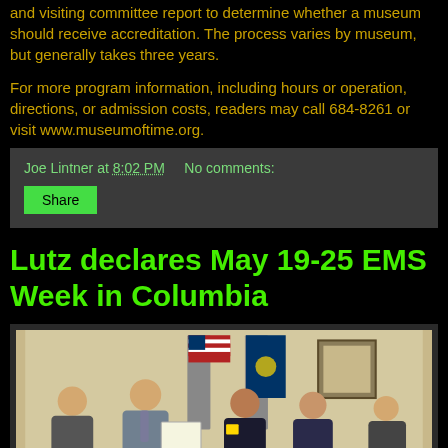and visiting committee report to determine whether a museum should receive accreditation. The process varies by museum, but generally takes three years.
For more program information, including hours or operation, directions, or admission costs, readers may call 684-8261 or visit www.museumoftime.org.
Joe Lintner at 8:02 PM    No comments:
Share
Lutz declares May 19-25 EMS Week in Columbia
[Figure (photo): Group photo of several people including officials, with American and blue flags visible in the background, inside what appears to be an office or meeting room.]